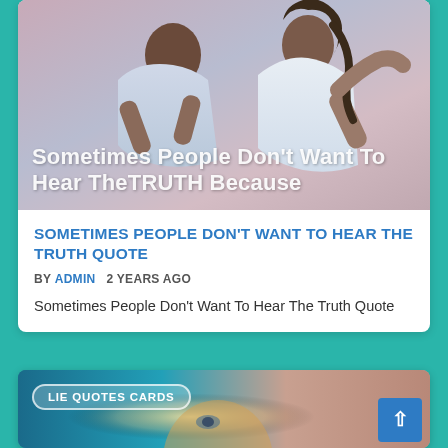[Figure (photo): Two women in a physical altercation, wearing denim and casual clothing, with overlaid white bold text reading 'Sometimes People Don't Want To Hear TheTRUTH Because']
SOMETIMES PEOPLE DON'T WANT TO HEAR THE TRUTH QUOTE
BY ADMIN   2 YEARS AGO
Sometimes People Don't Want To Hear The Truth Quote
[Figure (photo): Partial view of a blonde woman's face with a glowing light effect, with a 'LIE QUOTES CARDS' badge overlay and a blue back-to-top arrow button]